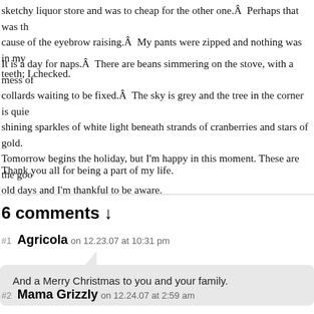sketchy liquor store and was to cheap for the other one.Â  Perhaps that was the cause of the eyebrow raising.Â  My pants were zipped and nothing was in my teeth; I checked.
It is a day for naps.Â  There are beans simmering on the stove, with a mess of collards waiting to be fixed.Â  The sky is grey and the tree in the corner is quie shining sparkles of white light beneath strands of cranberries and stars of gold. Tomorrow begins the holiday, but I'm happy in this moment. These are the good old days and I'm thankful to be aware.
Thank you all for being a part of my life.
6 comments ↓
#1  Agricola  on 12.23.07 at 10:31 pm
And a Merry Christmas to you and your family.
#2  Mama Grizzly  on 12.24.07 at 2:59 am